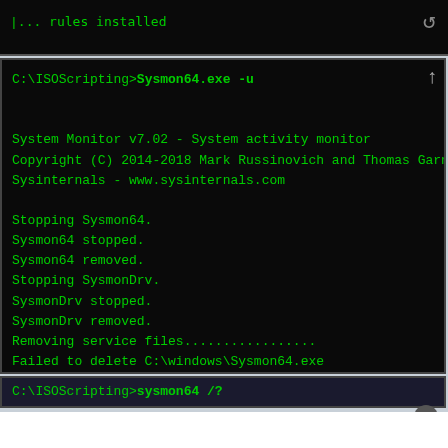... rules installed
[Figure (screenshot): Windows command prompt terminal showing Sysmon64.exe -u uninstall command output with green text on black background]
C:\ISOScripting>Sysmon64.exe -u

System Monitor v7.02 - System activity monitor
Copyright (C) 2014-2018 Mark Russinovich and Thomas Garnier
Sysinternals - www.sysinternals.com

Stopping Sysmon64.
Sysmon64 stopped.
Sysmon64 removed.
Stopping SysmonDrv.
SysmonDrv stopped.
SysmonDrv removed.
Removing service files.................
Failed to delete C:\windows\Sysmon64.exe
C:\ISOScripting>sysmon64 /?